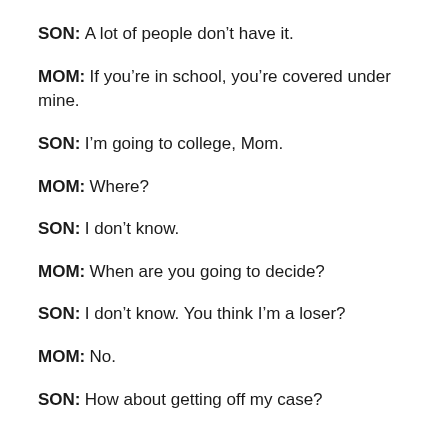SON: A lot of people don't have it.
MOM: If you're in school, you're covered under mine.
SON: I'm going to college, Mom.
MOM: Where?
SON: I don't know.
MOM: When are you going to decide?
SON: I don't know. You think I'm a loser?
MOM: No.
SON: How about getting off my case?